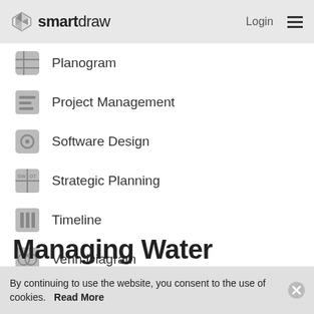smartdraw  Login ☰
Planogram
Project Management
Software Design
Strategic Planning
Timeline
Venn Diagram
Wireframe
Managing Water
By continuing to use the website, you consent to the use of cookies.   Read More